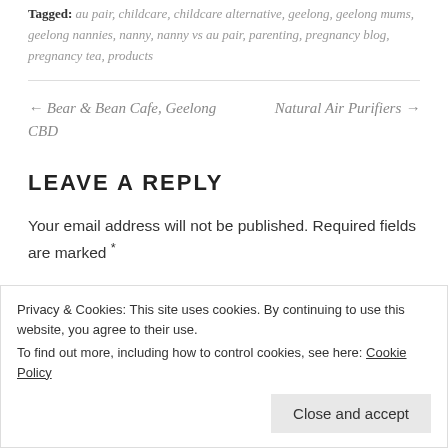Tagged: au pair, childcare, childcare alternative, geelong, geelong mums, geelong nannies, nanny, nanny vs au pair, parenting, pregnancy blog, pregnancy tea, products
← Bear & Bean Cafe, Geelong CBD
Natural Air Purifiers →
LEAVE A REPLY
Your email address will not be published. Required fields are marked *
Privacy & Cookies: This site uses cookies. By continuing to use this website, you agree to their use. To find out more, including how to control cookies, see here: Cookie Policy